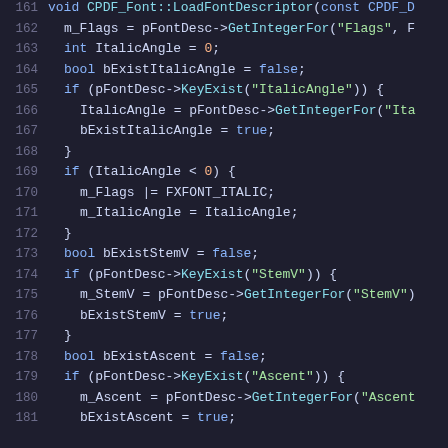[Figure (screenshot): Source code listing in a dark-themed code editor showing C++ function LoadFontDescriptor, lines 161-181, with syntax highlighting (blue keywords, green strings/method names, light text for variables).]